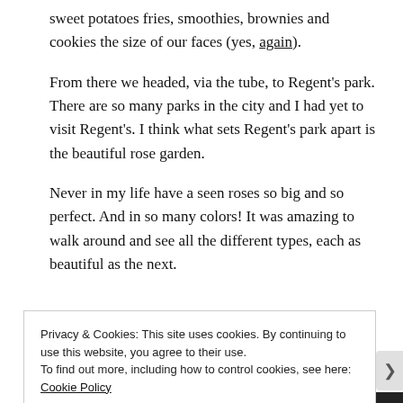sweet potatoes fries, smoothies, brownies and cookies the size of our faces (yes, again).
From there we headed, via the tube, to Regent's park. There are so many parks in the city and I had yet to visit Regent's. I think what sets Regent's park apart is the beautiful rose garden.
Never in my life have a seen roses so big and so perfect. And in so many colors! It was amazing to walk around and see all the different types, each as beautiful as the next.
Privacy & Cookies: This site uses cookies. By continuing to use this website, you agree to their use.
To find out more, including how to control cookies, see here: Cookie Policy